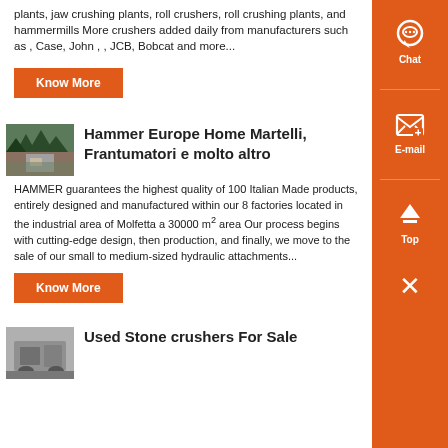plants, jaw crushing plants, roll crushers, roll crushing plants, and hammermills More crushers added daily from manufacturers such as , Case, John , , JCB, Bobcat and more...
Know More
[Figure (photo): Outdoor industrial crushing plant machinery in a forested area]
Hammer Europe Home Martelli, Frantumatori e molto altro
HAMMER guarantees the highest quality of 100 Italian Made products, entirely designed and manufactured within our 8 factories located in the industrial area of Molfetta a 30000 m² area Our process begins with cutting-edge design, then production, and finally, we move to the sale of our small to medium-sized hydraulic attachments...
Know More
[Figure (photo): Stone crusher machine equipment]
Used Stone crushers For Sale